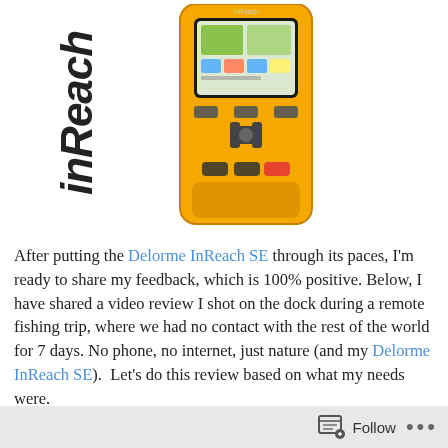[Figure (photo): InReach device with rotated 'inReach' brand text beside a yellow handheld GPS/satellite communicator device]
After putting the Delorme InReach SE through its paces, I'm ready to share my feedback, which is 100% positive. Below, I have shared a video review I shot on the dock during a remote fishing trip, where we had no contact with the rest of the world for 7 days. No phone, no internet, just nature (and my Delorme InReach SE).  Let's do this review based on what my needs were.
Emergency Communication:
Follow  •••